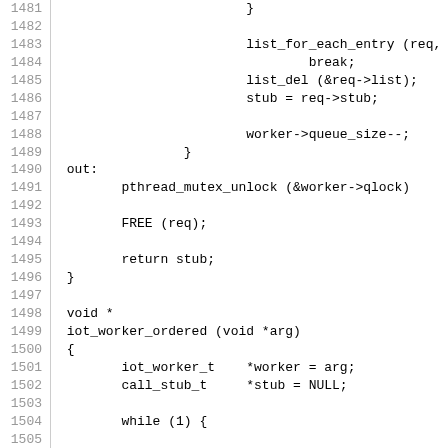[Figure (screenshot): Source code listing showing C code lines 1481-1510, including list_for_each_entry, list_del, stub, worker->queue_size--, out: label, pthread_mutex_unlock, FREE, return stub, closing brace, void * iot_worker_ordered function definition, variable declarations, while loop, stub = iot_dequeue_ordered, if (stub == NULL) with if (iot_ordered_exit and break; and else]